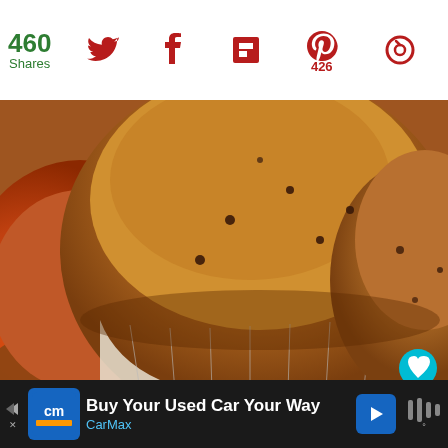460 Shares | Social share icons: Twitter, Facebook, Flipboard, Pinterest (426), Circle
[Figure (photo): Close-up photo of golden-brown chocolate chip muffins in white paper liners, warm orange tones]
[Figure (screenshot): Purple/lavender colored rectangle content area below the muffin photo]
WHAT'S NEXT → Easy Pumpkin Spice Cake...
Buy Your Used Car Your Way
CarMax